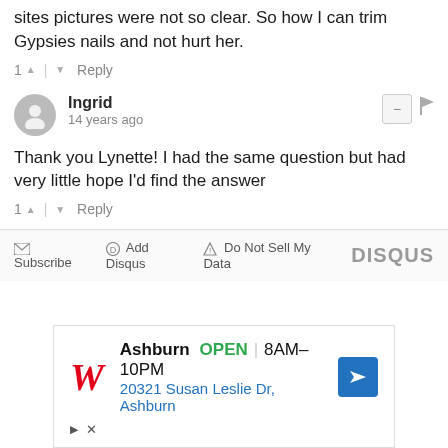sites pictures were not so clear. So how I can trim Gypsies nails and not hurt her.
1 ▲ | ▼ Reply
Ingrid
14 years ago
Thank you Lynette! I had the same question but had very little hope I'd find the answer
1 ▲ | ▼ Reply
✉ Subscribe  ⓟ Add Disqus  ⚠ Do Not Sell My Data   DISQUS
[Figure (other): Walgreens advertisement: Ashburn OPEN 8AM-10PM, 20321 Susan Leslie Dr, Ashburn with navigation arrow icon]